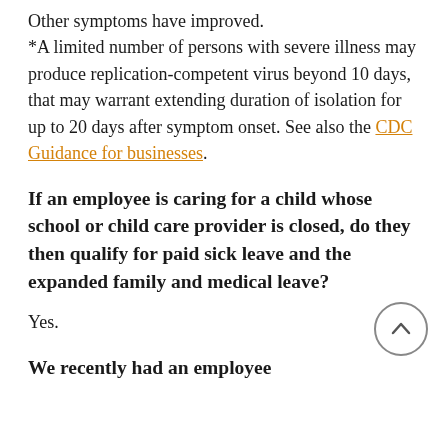Other symptoms have improved. *A limited number of persons with severe illness may produce replication-competent virus beyond 10 days, that may warrant extending duration of isolation for up to 20 days after symptom onset. See also the CDC Guidance for businesses.
If an employee is caring for a child whose school or child care provider is closed, do they then qualify for paid sick leave and the expanded family and medical leave?
Yes.
We recently had an employee